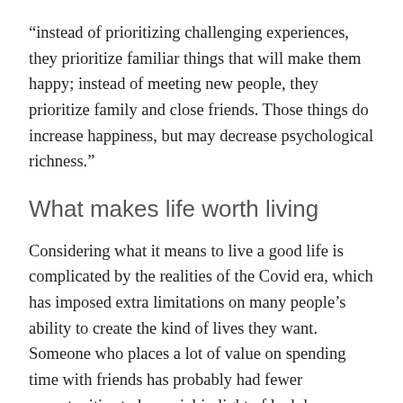“instead of prioritizing challenging experiences, they prioritize familiar things that will make them happy; instead of meeting new people, they prioritize family and close friends. Those things do increase happiness, but may decrease psychological richness.”
What makes life worth living
Considering what it means to live a good life is complicated by the realities of the Covid era, which has imposed extra limitations on many people’s ability to create the kind of lives they want. Someone who places a lot of value on spending time with friends has probably had fewer opportunities to be social in light of lockdowns; a person who loves to travel has likely taken far fewer trips than in previous years. What